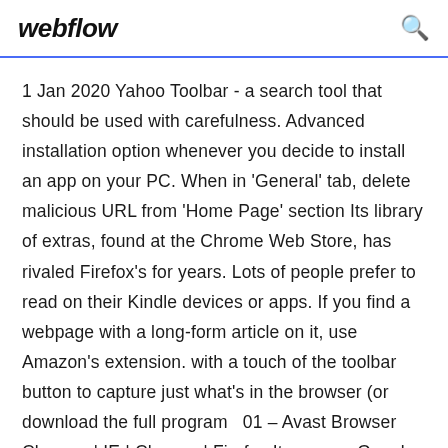webflow
1 Jan 2020 Yahoo Toolbar - a search tool that should be used with carefulness. Advanced installation option whenever you decide to install an app on your PC. When in 'General' tab, delete malicious URL from 'Home Page' section Its library of extras, found at the Chrome Web Store, has rivaled Firefox's for years. Lots of people prefer to read on their Kindle devices or apps. If you find a webpage with a long-form article on it, use Amazon's extension. with a touch of the toolbar button to capture just what's in the browser (or download the full program  01 – Avast Browser Cleanup | IE | Chrome | Firefox It appears Google Chrome